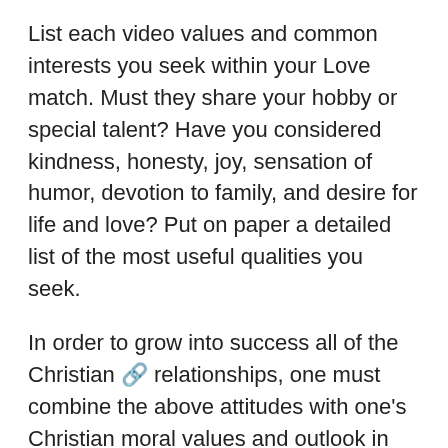List each video values and common interests you seek within your Love match. Must they share your hobby or special talent? Have you considered kindness, honesty, joy, sensation of humor, devotion to family, and desire for life and love? Put on paper a detailed list of the most useful qualities you seek.
In order to grow into success all of the Christian 🔗 relationships, one must combine the above attitudes with one's Christian moral values and outlook in life. Don't forget God's laws and teachings of our Christian faith and apply them repeatedly. By atmosphere you'll be freer, confident, more relax, happier and ready in meeting other Christian singles.
If you're someone who needs staying around your